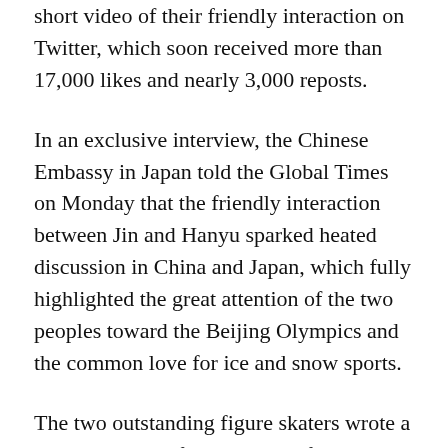short video of their friendly interaction on Twitter, which soon received more than 17,000 likes and nearly 3,000 reposts.
In an exclusive interview, the Chinese Embassy in Japan told the Global Times on Monday that the friendly interaction between Jin and Hanyu sparked heated discussion in China and Japan, which fully highlighted the great attention of the two peoples toward the Beijing Olympics and the common love for ice and snow sports.
The two outstanding figure skaters wrote a touching story of China-Japan friendship in the Winter Olympics, and their friendship is commendable, said the Embassy.